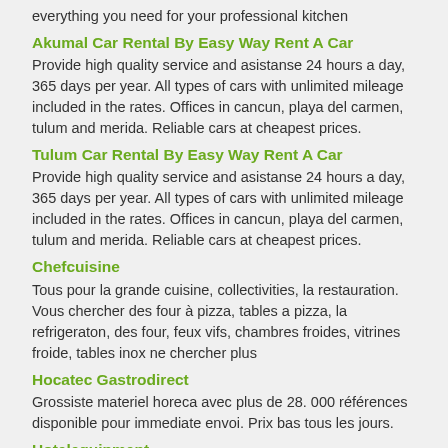everything you need for your professional kitchen
Akumal Car Rental By Easy Way Rent A Car
Provide high quality service and asistanse 24 hours a day, 365 days per year. All types of cars with unlimited mileage included in the rates. Offices in cancun, playa del carmen, tulum and merida. Reliable cars at cheapest prices.
Tulum Car Rental By Easy Way Rent A Car
Provide high quality service and asistanse 24 hours a day, 365 days per year. All types of cars with unlimited mileage included in the rates. Offices in cancun, playa del carmen, tulum and merida. Reliable cars at cheapest prices.
Chefcuisine
Tous pour la grande cuisine, collectivities, la restauration. Vous chercher des four à pizza, tables a pizza, la refrigeraton, des four, feux vifs, chambres froides, vitrines froide, tables inox ne chercher plus
Hocatec Gastrodirect
Grossiste materiel horeca avec plus de 28. 000 références disponible pour immediate envoi. Prix bas tous les jours.
Hotelequipment